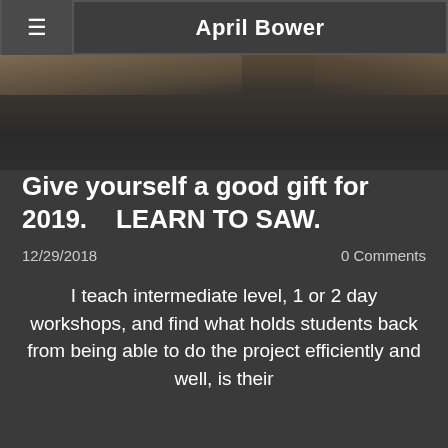April Bower
[Figure (photo): Partially visible photo with dark background and warm tones at top, appearing to be a woodworking or craft-related image]
Give yourself a good gift for 2019.    LEARN TO SAW.
12/29/2018    0 Comments
I teach intermediate level, 1 or 2 day workshops, and find what holds students back from being able to do the project efficiently and well, is their